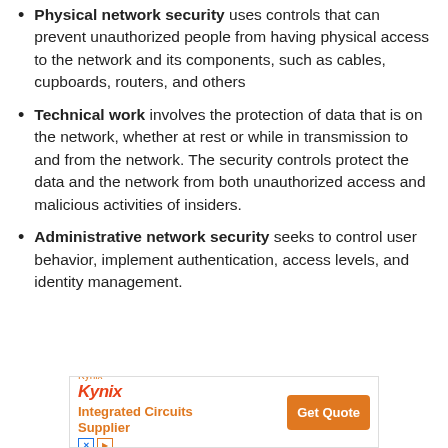Physical network security uses controls that can prevent unauthorized people from having physical access to the network and its components, such as cables, cupboards, routers, and others
Technical work involves the protection of data that is on the network, whether at rest or while in transmission to and from the network. The security controls protect the data and the network from both unauthorized access and malicious activities of insiders.
Administrative network security seeks to control user behavior, implement authentication, access levels, and identity management.
[Figure (other): Kynix Integrated Circuits Supplier advertisement banner with logo, Get Quote button]